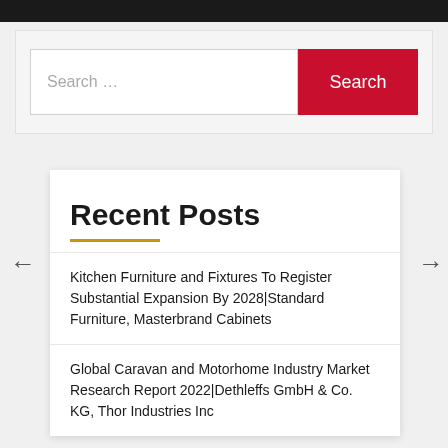[Figure (screenshot): Black navigation bar at top of webpage]
[Figure (screenshot): Search bar with text input field reading 'Search ...' and a red Search button]
Recent Posts
Kitchen Furniture and Fixtures To Register Substantial Expansion By 2028|Standard Furniture, Masterbrand Cabinets
Global Caravan and Motorhome Industry Market Research Report 2022|Dethleffs GmbH & Co. KG, Thor Industries Inc